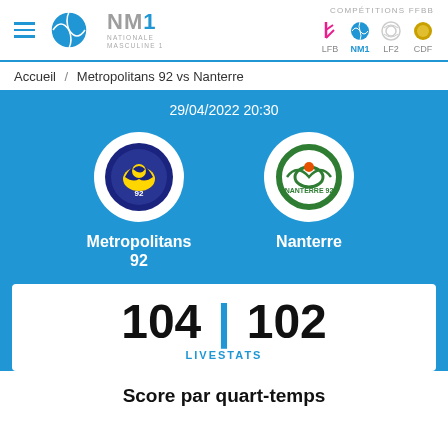NM1 NATIONALE MASCULINE 1 | COMPÉTITIONS FFBB | LFB | NM1 | LF2 | CDF
Accueil / Metropolitans 92 vs Nanterre
29/04/2022 20:30
[Figure (logo): Metropolitans 92 team logo - circular blue background with eagle]
[Figure (logo): Nanterre 92 team logo - circular green background]
Metropolitans 92
Nanterre
104 | 102 LIVESTATS
Score par quart-temps